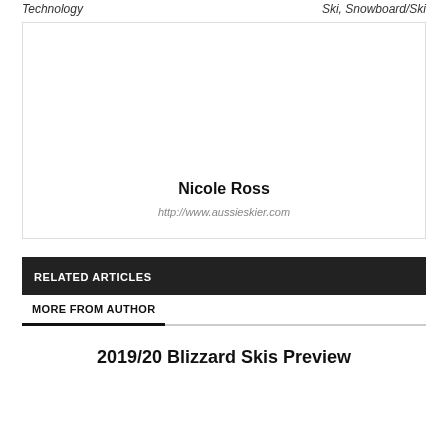Technology  |  Ski, Snowboard/Ski
[Figure (other): Author profile box showing Nicole Ross with website link http://www.aussieskier.com]
RELATED ARTICLES
MORE FROM AUTHOR
2019/20 Blizzard Skis Preview